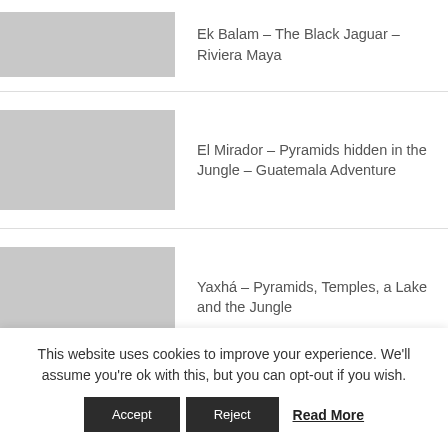Ek Balam – The Black Jaguar – Riviera Maya
El Mirador – Pyramids hidden in the Jungle – Guatemala Adventure
Yaxhá – Pyramids, Temples, a Lake and the Jungle
Coba, ruled by women – highest pyramid at the
This website uses cookies to improve your experience. We'll assume you're ok with this, but you can opt-out if you wish.